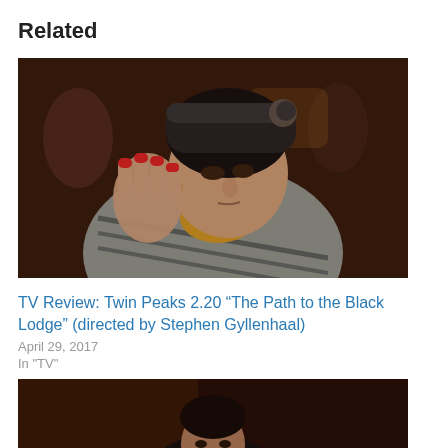Related
[Figure (photo): Woman in a knit hat with red fingernails gesturing, wearing a striped poncho and mustard turtleneck. Dark background with people in the background. Film still from Twin Peaks.]
TV Review: Twin Peaks 2.20 “The Path to the Black Lodge” (directed by Stephen Gyllenhaal)
April 29, 2017
In "TV"
[Figure (photo): Man in a dark suit sitting in a dimly lit room, slightly smiling. Film still from Twin Peaks.]